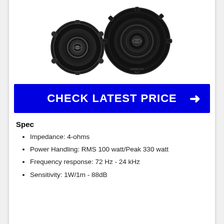[Figure (photo): Two black car speakers side by side — a smaller one on the left and a larger one on the right]
CHECK LATEST PRICE →
Spec
Impedance: 4-ohms
Power Handling: RMS 100 watt/Peak 330 watt
Frequency response: 72 Hz - 24 kHz
Sensitivity: 1W/1m - 88dB